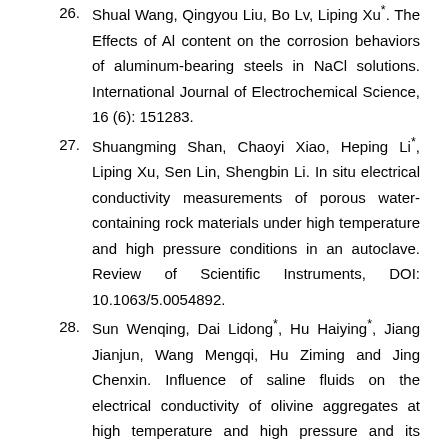Shual Wang, Qingyou Liu, Bo Lv, Liping Xu*. The Effects of Al content on the corrosion behaviors of aluminum-bearing steels in NaCl solutions. International Journal of Electrochemical Science, 16 (6): 151283.
Shuangming Shan, Chaoyi Xiao, Heping Li*, Liping Xu, Sen Lin, Shengbin Li. In situ electrical conductivity measurements of porous water-containing rock materials under high temperature and high pressure conditions in an autoclave. Review of Scientific Instruments, DOI: 10.1063/5.0054892.
Sun Wenqing, Dai Lidong*, Hu Haiying*, Jiang Jianjun, Wang Mengqi, Hu Ziming and Jing Chenxin. Influence of saline fluids on the electrical conductivity of olivine aggregates at high temperature and high pressure and its geological